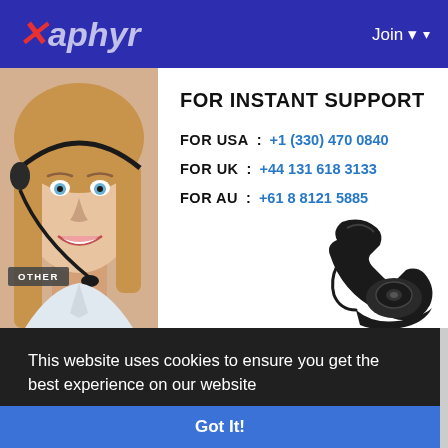Xaphyr — Join
[Figure (photo): Woman with headset smiling, customer support representative]
FOR INSTANT SUPPORT
FOR USA : +1 (330) 470 0840
FOR UK : +44 131 618 3133
FOR AU : +61 8 8121 5885
[Figure (illustration): Black rotary telephone]
OTHER
This website uses cookies to ensure you get the best experience on our website
Learn More
Got It!